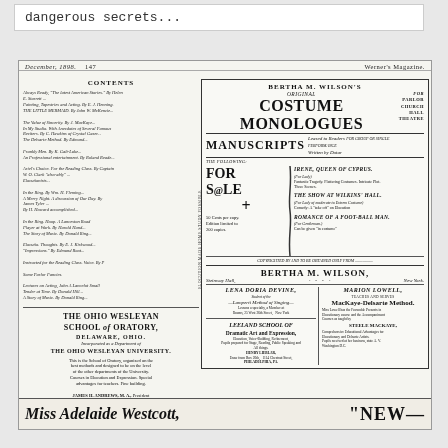dangerous secrets...
DECEMBER, 1898.    Werner's Magazine.
CONTENTS
Contents listing of Werner's Magazine December 1898 including articles, stories, elocution pieces, and advertisements.
THE OHIO WESLEYAN SCHOOL OF ORATORY, DELAWARE, OHIO. Incorporated as a Department of THE OHIO WESLEYAN UNIVERSITY.
BERTHA M. WILSON'S ORIGINAL COSTUME MONOLOGUES FOR PARLOR CHURCH HALL THEATRE
MANUSCRIPTS Leased to Readers FOR GROUP OR SINGLE PERFORMANCE Written by Dotar
THE FOLLOWING: FOR SALE + 50 Cents per copy. Edition limited to 200 copies. IRENE, QUEEN OF CYPRUS. THE SHOW AT WILKINS' HALL. ROMANCE OF A FOOT-BALL MAN.
BERTHA M. WILSON, STEINWAY HALL, New York.
LENA DORIA DEVINE. Student of the Lamperti Method of Singing. LEELAND SCHOOL OF Dramatic Art and Expression. HENRY LIEBLAR, 1114 Chestnut Street, PHILADELPHIA, PA.
MARION LOWELL, TEACHES AND GIVES MacKaye-Delsarte Method. STEELE MACKAYE.
Miss Adelaide Westcott,   "NEW—